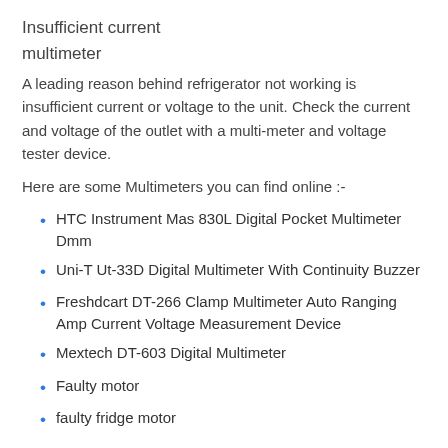Insufficient current
multimeter
A leading reason behind refrigerator not working is insufficient current or voltage to the unit. Check the current and voltage of the outlet with a multi-meter and voltage tester device.
Here are some Multimeters you can find online :-
HTC Instrument Mas 830L Digital Pocket Multimeter Dmm
Uni-T Ut-33D Digital Multimeter With Continuity Buzzer
Freshdcart DT-266 Clamp Multimeter Auto Ranging Amp Current Voltage Measurement Device
Mextech DT-603 Digital Multimeter
Faulty motor
faulty fridge motor